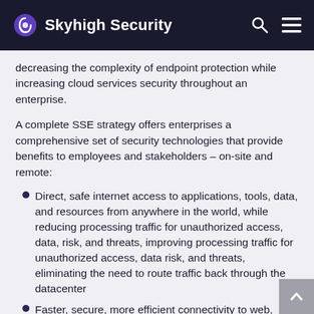Skyhigh Security
decreasing the complexity of endpoint protection while increasing cloud services security throughout an enterprise.
A complete SSE strategy offers enterprises a comprehensive set of security technologies that provide benefits to employees and stakeholders – on-site and remote:
Direct, safe internet access to applications, tools, data, and resources from anywhere in the world, while reducing processing traffic for unauthorized access, data, risk, and threats, improving processing traffic for unauthorized access, data risk, and threats, eliminating the need to route traffic back through the datacenter
Faster, secure, more efficient connectivity to web, cloud, and private apps when accessing application resources from any user, any device, anywhere
Monitoring and tracking behavior of users accessing the network
Threat defense within the cloud and from any web destination, detecting both cloud-native attacks and advanced malware